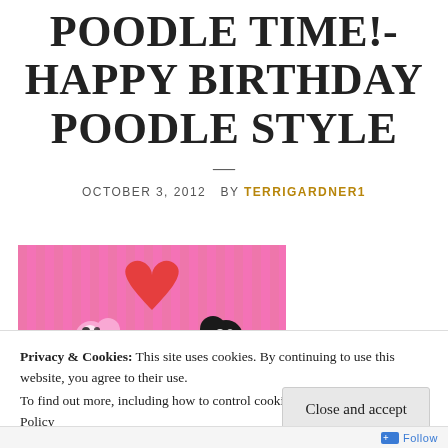POODLE TIME!- HAPPY BIRTHDAY POODLE STYLE
OCTOBER 3, 2012  BY TERRIGARDNER1
[Figure (illustration): Colorful illustration on pink background showing cartoon poodles (a pink/white one and a black one) with a large red heart above them on a pink striped background.]
Privacy & Cookies: This site uses cookies. By continuing to use this website, you agree to their use.
To find out more, including how to control cookies, see here: Cookie Policy
Close and accept
Follow